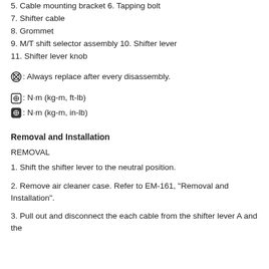5. Cable mounting bracket 6. Tapping bolt
7. Shifter cable
8. Grommet
9. M/T shift selector assembly 10. Shifter lever
11. Shifter lever knob
[warning symbol]: Always replace after every disassembly.
[torque symbol large]: N·m (kg-m, ft-lb)
[torque symbol small]: N·m (kg-m, in-lb)
Removal and Installation
REMOVAL
1. Shift the shifter lever to the neutral position.
2. Remove air cleaner case. Refer to EM-161, "Removal and Installation".
3. Pull out and disconnect the each cable from the shifter lever A and the